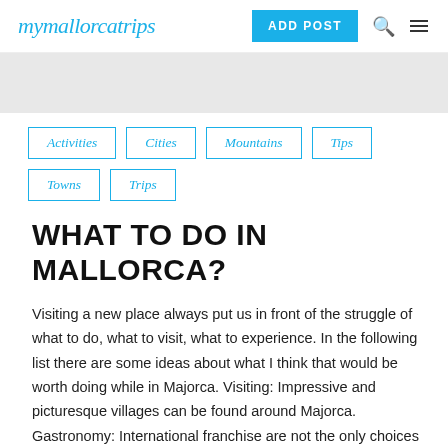mymallorcatrips | ADD POST
[Figure (other): Gray banner placeholder area]
Activities
Cities
Mountains
Tips
Towns
Trips
WHAT TO DO IN MALLORCA?
Visiting a new place always put us in front of the struggle of what to do, what to visit, what to experience. In the following list there are some ideas about what I think that would be worth doing while in Majorca. Visiting: Impressive and picturesque villages can be found around Majorca. Gastronomy: International franchise are not the only choices when it comes about food. Keep in mind that …